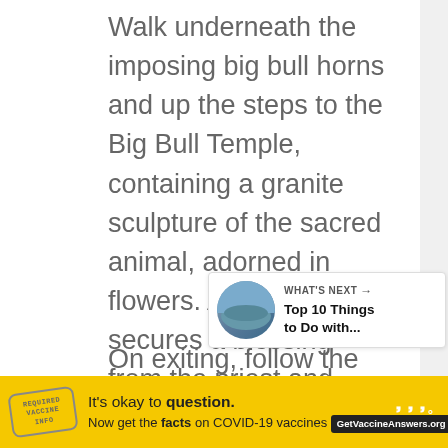Walk underneath the imposing big bull horns and up the steps to the Big Bull Temple, containing a granite sculpture of the sacred animal, adorned in flowers. A few rupees secures a blessing from the priest and remember to place your hand on the bull's hoof for good luck.
On exiting, follow the steps to the right into Bugle Park and let the kids release some energy by climbing over boulders and mixin with the local kids at the playground.
[Figure (screenshot): What's Next widget showing a circular thumbnail image of a landscape/water scene with text 'WHAT'S NEXT → Top 10 Things to Do with...']
[Figure (infographic): Yellow advertisement bar at bottom: logo stamp on left, text 'It's okay to question. Now get the facts on COVID-19 vaccines GetVaccineAnswers.org', close button top right. Dark strip on right with stylized W logo.]